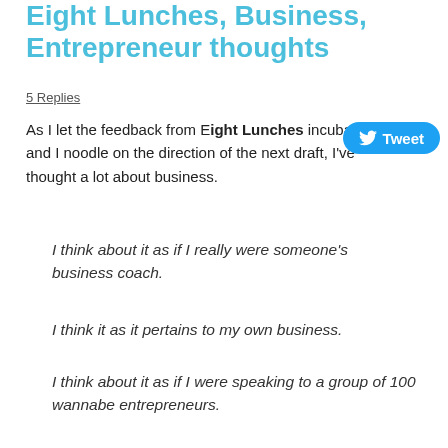Eight Lunches, Business, Entrepreneur thoughts
5 Replies
As I let the feedback from Eight Lunches incubate, and I noodle on the direction of the next draft, I've thought a lot about business.
I think about it as if I really were someone's business coach.
I think it as it pertains to my own business.
I think about it as if I were speaking to a group of 100 wannabe entrepreneurs.